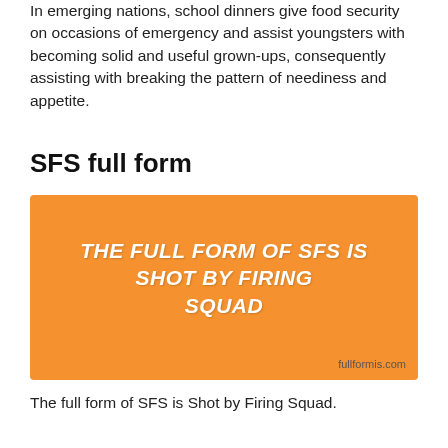In emerging nations, school dinners give food security on occasions of emergency and assist youngsters with becoming solid and useful grown-ups, consequently assisting with breaking the pattern of neediness and appetite.
SFS full form
[Figure (infographic): Orange rectangle infographic with bold italic white text reading 'THE FULL FORM OF SFS IS SHOT BY FIRING SQUAD' and watermark 'fullformis.com' at bottom right.]
The full form of SFS is Shot by Firing Squad.